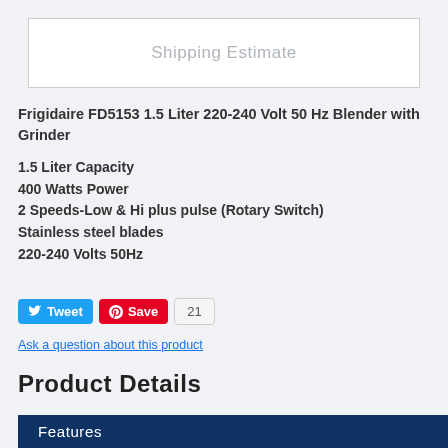Shipping Estimate
Frigidaire FD5153 1.5 Liter 220-240 Volt 50 Hz Blender with Grinder
1.5 Liter Capacity
400 Watts Power
2 Speeds-Low & Hi plus pulse (Rotary Switch)
Stainless steel blades
220-240 Volts 50Hz
[Figure (infographic): Social sharing buttons: Tweet button (Twitter/blue), Save button (Pinterest/red), count badge showing 21]
Ask a question about this product
Product Details
Features